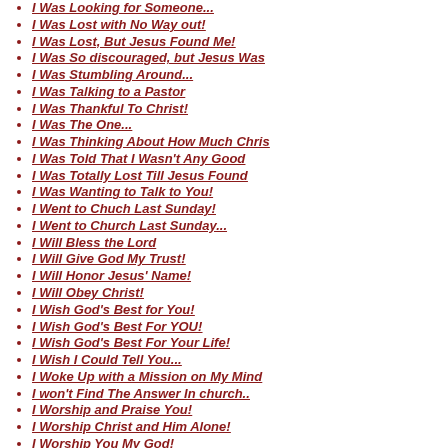I Was Looking for Someone...
I Was Lost with No Way out!
I Was Lost, But Jesus Found Me!
I Was So discouraged, but Jesus Was
I Was Stumbling Around...
I Was Talking to a Pastor
I Was Thankful To Christ!
I Was The One...
I Was Thinking About How Much Chris
I Was Told That I Wasn't Any Good
I Was Totally Lost Till Jesus Found
I Was Wanting to Talk to You!
I Went to Chuch Last Sunday!
I Went to Church Last Sunday...
I Will Bless the Lord
I Will Give God My Trust!
I Will Honor Jesus' Name!
I Will Obey Christ!
I Wish God's Best for You!
I Wish God's Best For YOU!
I Wish God's Best For Your Life!
I Wish I Could Tell You...
I Woke Up with a Mission on My Mind
I won't Find The Answer In church..
I Worship and Praise You!
I Worship Christ and Him Alone!
I Worship You My God!
I'd Like to Tell You about Jesus!
I'd Like to Tell You about Jesus!
I'd Rather Have Jesus!